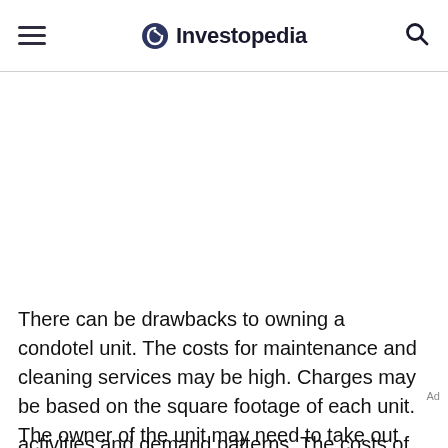Investopedia
There can be drawbacks to owning a condotel unit. The costs for maintenance and cleaning services may be high. Charges may be based on the square footage of each unit. The owner of the unit may need to take out special insurance for the property. The pricing for a condotel unit might be based on tourist and vacation